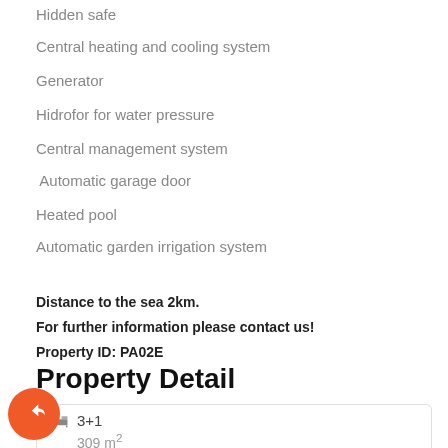Hidden safe
Central heating and cooling system
Generator
Hidrofor for water pressure
Central management system
Automatic garage door
Heated pool
Automatic garden irrigation system
Distance to the sea 2km.
For further information please contact us!
Property ID: PA02E
Property Detail
3+1
309 m2